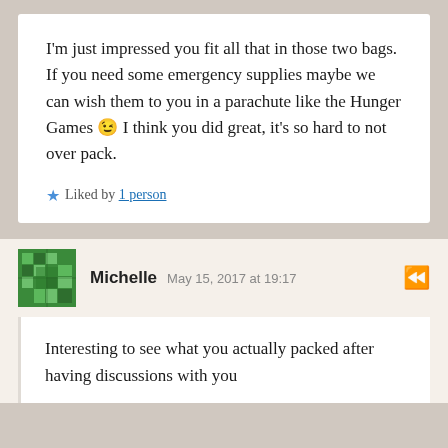I'm just impressed you fit all that in those two bags. If you need some emergency supplies maybe we can wish them to you in a parachute like the Hunger Games 😉 I think you did great, it's so hard to not over pack.
Liked by 1 person
Michelle  May 15, 2017 at 19:17
Interesting to see what you actually packed after having discussions with you